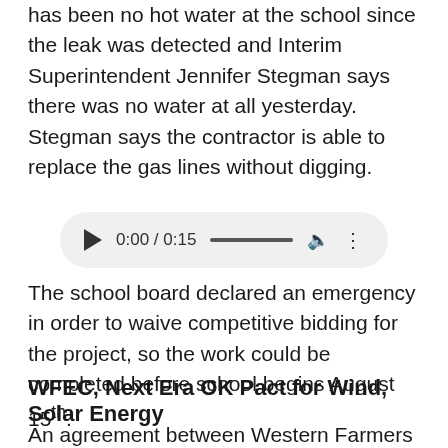has been no hot water at the school since the leak was detected and Interim Superintendent Jennifer Stegman says there was no water at all yesterday. Stegman says the contractor is able to replace the gas lines without digging.
[Figure (other): Audio player widget showing 0:00 / 0:15 with play button, progress bar, volume icon, and menu icon]
The school board declared an emergency in order to waive competitive bidding for the project, so the work could be completed before school begins August 15th.
WFEC, Next Era OK Pact for Wind, Solar Energy
An agreement between Western Farmers Electric